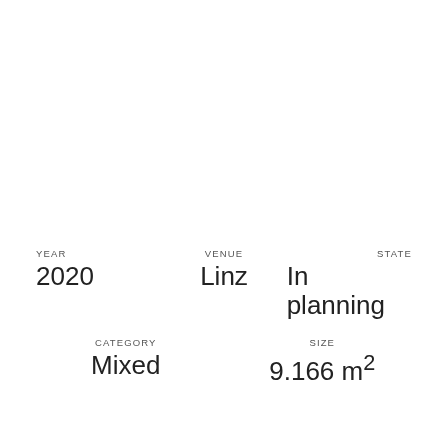YEAR
2020
VENUE
Linz
STATE
In planning
CATEGORY
Mixed
SIZE
9.166 m²